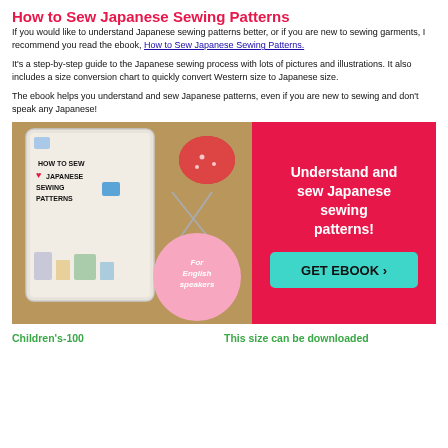How to Sew Japanese Sewing Patterns
If you would like to understand Japanese sewing patterns better, or if you are new to sewing garments, I recommend you read the ebook, How to Sew Japanese Sewing Patterns.
It's a step-by-step guide to the Japanese sewing process with lots of pictures and illustrations. It also includes a size conversion chart to quickly convert Western size to Japanese size.
The ebook helps you understand and sew Japanese patterns, even if you are new to sewing and don't speak any Japanese!
[Figure (illustration): Advertisement banner for 'How to Sew Japanese Sewing Patterns' ebook showing tablet with book cover, sewing materials, pink circle with 'For English speakers' text, and pink background with 'Understand and sew Japanese sewing patterns!' and 'GET EBOOK >' button]
Children's-100
This size can be downloaded